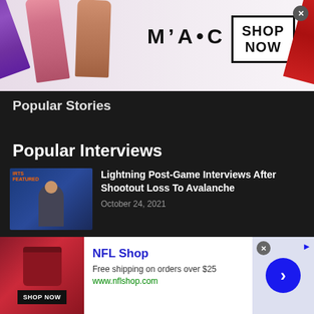[Figure (photo): MAC Cosmetics advertisement banner with lipsticks (purple, pink, nude) on left, MAC logo in center, SHOP NOW box on right, red lipstick on far right, close button in top right corner]
Popular Stories
Popular Interviews
[Figure (photo): Thumbnail of a sports press conference with a man in suit against a blue sponsor backdrop with IRTS text visible]
Lightning Post-Game Interviews After Shootout Loss To Avalanche
October 24, 2021
[Figure (photo): Thumbnail of hockey players from Colorado Avalanche on ice]
Lightning Lose Shootout To Avalanche, Still Seeking First Home Win
October 24, 2021
[Figure (screenshot): NFL Shop advertisement with red bag image, SHOP NOW button, NFL Shop title in blue, free shipping text, www.nflshop.com URL, blue arrow button on right side]